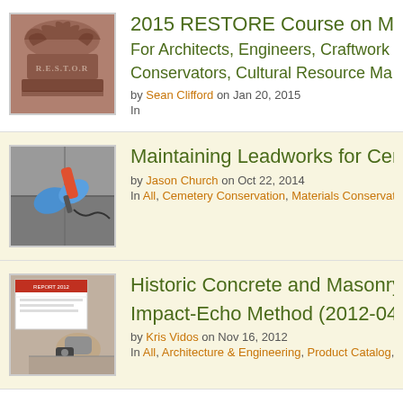[Figure (photo): Stone architectural capital with carved acanthus leaves, with RESTORE text carved at base]
2015 RESTORE Course on Mas...
For Architects, Engineers, Craftwork...
Conservators, Cultural Resource Ma...
by Sean Clifford on Jan 20, 2015
In
[Figure (photo): Person wearing blue gloves working on masonry/leadwork with a red tool]
Maintaining Leadworks for Cem...
by Jason Church on Oct 22, 2014
In All, Cemetery Conservation, Materials Conservation, Trai...
[Figure (photo): Person performing impact-echo testing on concrete/masonry surface outdoors]
Historic Concrete and Masonry A... Impact-Echo Method (2012-04)...
by Kris Vidos on Nov 16, 2012
In All, Architecture & Engineering, Product Catalog, Reports...